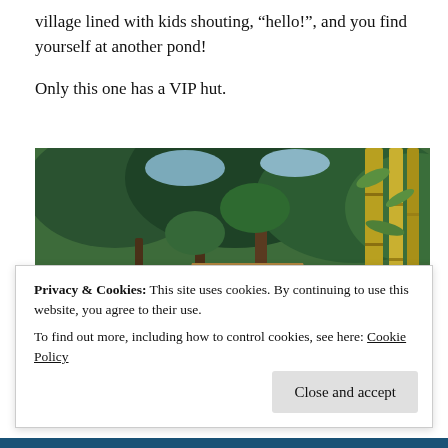village lined with kids shouting, “hello!”, and you find yourself at another pond!
Only this one has a VIP hut.
[Figure (photo): Photo of traditional thatched-roof huts on stilts over a pond, surrounded by bamboo and tropical trees.]
Privacy & Cookies: This site uses cookies. By continuing to use this website, you agree to their use.
To find out more, including how to control cookies, see here: Cookie Policy
Close and accept